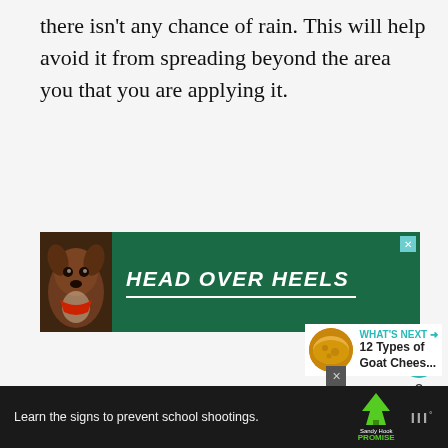there isn't any chance of rain. This will help avoid it from spreading beyond the area you that you are applying it.
[Figure (illustration): Advertisement banner with a dog image and text 'HEAD OVER HEELS' on a dark green background]
[Figure (infographic): Social media sidebar with heart icon showing '2' likes and a share icon]
[Figure (infographic): What's Next section showing '12 Types of Goat Chees...' with a thumbnail of cheese]
[Figure (illustration): Bottom advertisement bar: 'Learn the signs to prevent school shootings.' with Sandy Hook Promise logo and another logo]